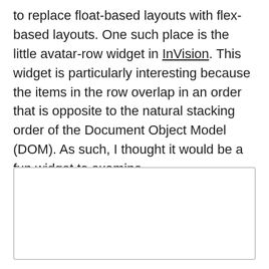to replace float-based layouts with flex-based layouts. One such place is the little avatar-row widget in InVision. This widget is particularly interesting because the items in the row overlap in an order that is opposite to the natural stacking order of the Document Object Model (DOM). As such, I thought it would be a fun widget to examine.
[Figure (other): Empty white rectangle with a light gray border, representing a placeholder or widget demo area.]